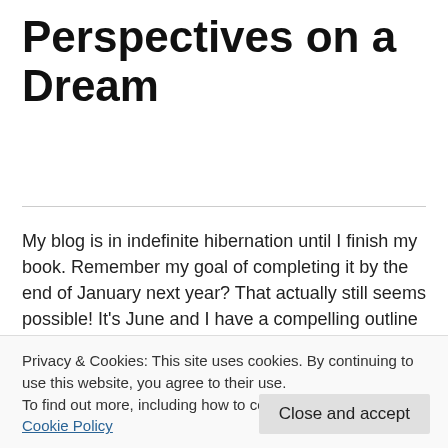Perspectives on a Dream
My blog is in indefinite hibernation until I finish my book. Remember my goal of completing it by the end of January next year? That actually still seems possible! It's June and I have a compelling outline and some nicely written passages (well, I think they are for now). But it hasn't been, isn't, won't...
READ MORE
Privacy & Cookies: This site uses cookies. By continuing to use this website, you agree to their use.
To find out more, including how to control cookies, see here: Cookie Policy
Close and accept